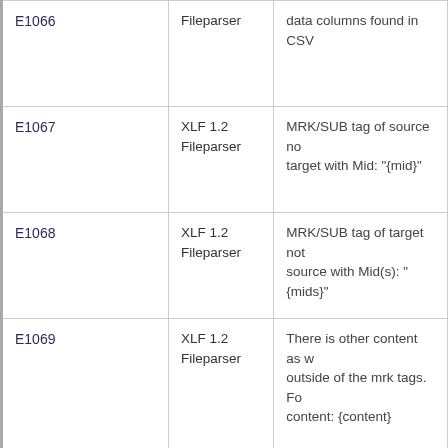| Error Code | Component | Description |
| --- | --- | --- |
| E1066 | Fileparser | data columns found in CSV |
| E1067 | XLF 1.2 Fileparser | MRK/SUB tag of source not target with Mid: "{mid}" |
| E1068 | XLF 1.2 Fileparser | MRK/SUB tag of target not source with Mid(s): "{mids}" |
| E1069 | XLF 1.2 Fileparser | There is other content as w outside of the mrk tags. Fo content: {content} |
| E1070 | XLF 1.2 Fileparser | SUB tag of {field} is not uni missing ID in the... |